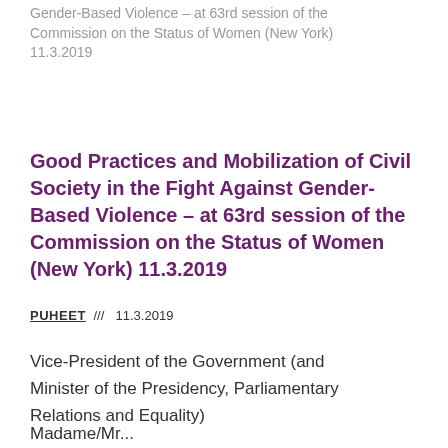Gender-Based Violence – at 63rd session of the Commission on the Status of Women (New York) 11.3.2019
Good Practices and Mobilization of Civil Society in the Fight Against Gender-Based Violence – at 63rd session of the Commission on the Status of Women (New York) 11.3.2019
PUHEET /// 11.3.2019
Vice-President of the Government (and Minister of the Presidency, Parliamentary Relations and Equality)
Madame/Mr...